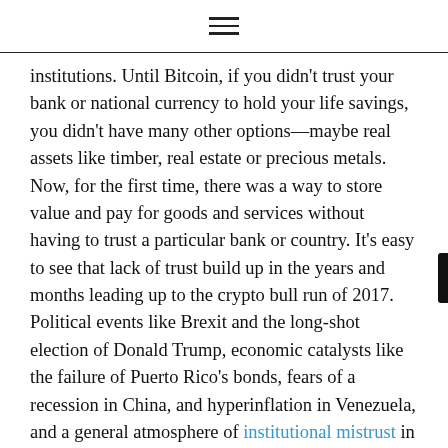≡
institutions. Until Bitcoin, if you didn't trust your bank or national currency to hold your life savings, you didn't have many other options—maybe real assets like timber, real estate or precious metals. Now, for the first time, there was a way to store value and pay for goods and services without having to trust a particular bank or country. It's easy to see that lack of trust build up in the years and months leading up to the crypto bull run of 2017. Political events like Brexit and the long-shot election of Donald Trump, economic catalysts like the failure of Puerto Rico's bonds, fears of a recession in China, and hyperinflation in Venezuela, and a general atmosphere of institutional mistrust in the US and around the world certainly influenced the likelihood of investors to buy and hold cryptoassets.
These factors probably influenced the initial rise of Bitcoin and other cryptoassets in the early months of 2017. But the biggest driver of Bitcoin from the low